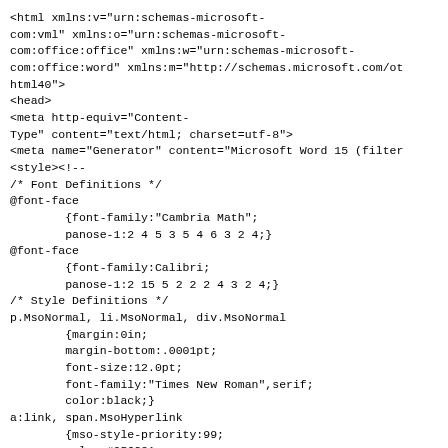<html xmlns:v="urn:schemas-microsoft-com:vml" xmlns:o="urn:schemas-microsoft-com:office:office" xmlns:w="urn:schemas-microsoft-com:office:word" xmlns:m="http://schemas.microsoft.com/ot html40">
<head>
<meta http-equiv="Content-Type" content="text/html; charset=utf-8">
<meta name="Generator" content="Microsoft Word 15 (filter">
<style><!--
/* Font Definitions */
@font-face
        {font-family:"Cambria Math";
        panose-1:2 4 5 3 5 4 6 3 2 4;}
@font-face
        {font-family:Calibri;
        panose-1:2 15 5 2 2 2 4 3 2 4;}
/* Style Definitions */
p.MsoNormal, li.MsoNormal, div.MsoNormal
        {margin:0in;
        margin-bottom:.0001pt;
        font-size:12.0pt;
        font-family:"Times New Roman",serif;
        color:black;}
a:link, span.MsoHyperlink
        {mso-style-priority:99;
        color:#0563C1;
        text-decoration:underline;}
a:visited, span.MsoHyperlinkFollowed
        {mso-style-priority:99;